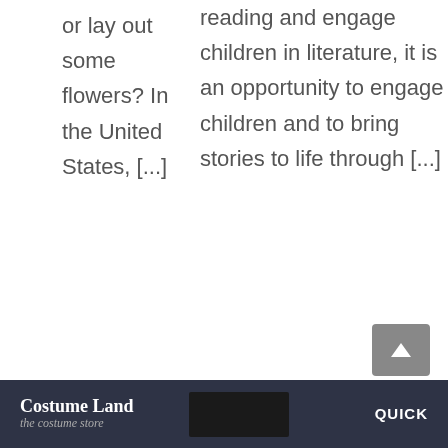or lay out some flowers? In the United States, [...]
reading and engage children in literature, it is an opportunity to engage children and to bring stories to life through [...]
Costume Land  QUICK